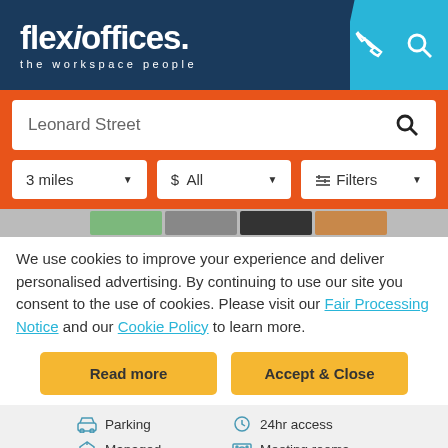[Figure (logo): Flexioffices logo with text 'flexioffices. the workspace people' on dark navy background with teal icons area]
[Figure (screenshot): Search interface with 'Leonard Street' search bar and filter dropdowns for '3 miles', '$ All', and 'Filters' on orange background]
We use cookies to improve your experience and deliver personalised advertising. By continuing to use our site you consent to the use of cookies. Please visit our Fair Processing Notice and our Cookie Policy to learn more.
[Figure (screenshot): Two yellow buttons: 'Read more' and 'Accept & Close']
Parking
24hr access
Managed
Meeting rooms
Kitchen
Fibre Internet